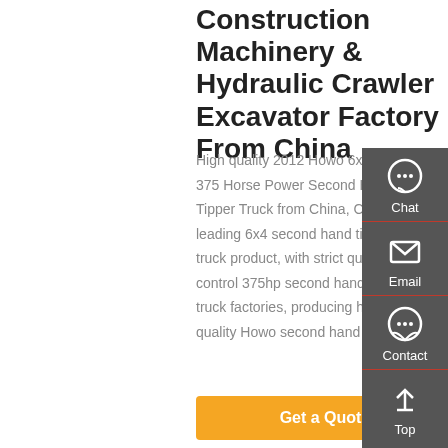Construction Machinery & Hydraulic Crawler Excavator Factory From China
High quality 2012 Howo 6x4 30 Ton 375 Horse Power Second Hand Tipper Truck from China, China's leading 6x4 second hand tipper truck product, with strict quality control 375hp second hand tipper truck factories, producing high quality Howo second hand tipper
Get a Quote